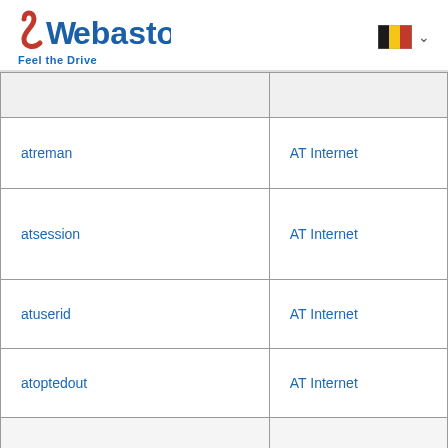Webasto – Feel the Drive
|  |  |
| --- | --- |
| atreman | AT Internet |
| atsession | AT Internet |
| atuserid | AT Internet |
| atoptedout | AT Internet |
|  |  |